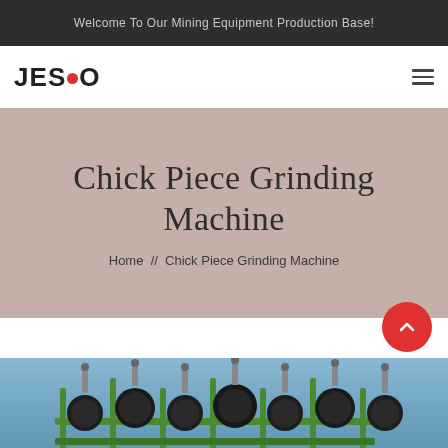Welcome To Our Mining Equipment Production Base!
[Figure (logo): JESCO logo with red dot between C and O]
Chick Piece Grinding Machine
Home  //  Chick Piece Grinding Machine
[Figure (photo): Close-up photo of a chick piece grinding machine with black spherical grinding media and green mechanical frame against a blue sky background. A NEW badge appears in the bottom-left corner.]